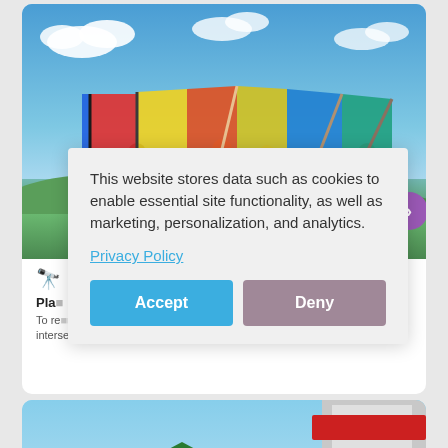[Figure (photo): People holding colorful flags (red, yellow, blue) against a blue sky with clouds and green hills in the background]
This website stores data such as cookies to enable essential site functionality, as well as marketing, personalization, and analytics.
Privacy Policy
Accept
Deny
Pla...
To re... intersection of identity and technology
[Figure (photo): Partial view of what appears to be a food item (bread/pastry) with a logo/shield visible]